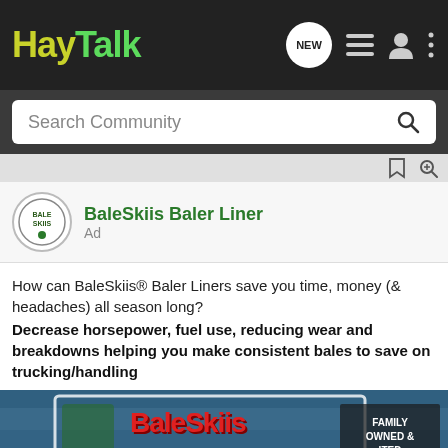HayTalk
Search Community
BaleSkiis Baler Liner
Ad
How can BaleSkiis® Baler Liners save you time, money (& headaches) all season long?
Decrease horsepower, fuel use, reducing wear and breakdowns helping you make consistent bales to save on trucking/handling
[Figure (photo): BaleSkiis brand advertisement image with red logo text on blue wooden background, with GroundOS overlay ad at the bottom reading 'The nation's top land brokers run on GroundOS. REQUEST A DEMO']